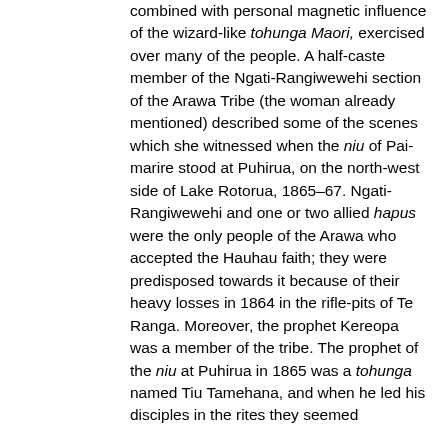combined with personal magnetic influence of the wizard-like tohunga Maori, exercised over many of the people. A half-caste member of the Ngati-Rangiwewehi section of the Arawa Tribe (the woman already mentioned) described some of the scenes which she witnessed when the niu of Pai-marire stood at Puhirua, on the north-west side of Lake Rotorua, 1865–67. Ngati-Rangiwewehi and one or two allied hapus were the only people of the Arawa who accepted the Hauhau faith; they were predisposed towards it because of their heavy losses in 1864 in the rifle-pits of Te Ranga. Moreover, the prophet Kereopa was a member of the tribe. The prophet of the niu at Puhirua in 1865 was a tohunga named Tiu Tamehana, and when he led his disciples in the rites they seemed